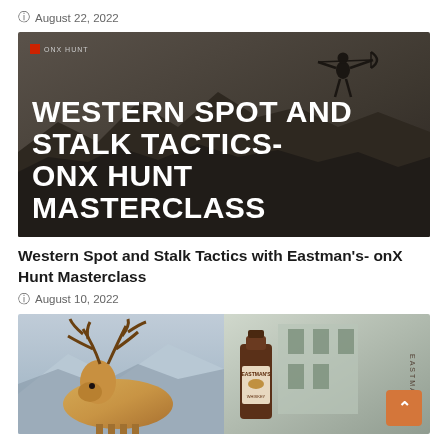August 22, 2022
[Figure (photo): Dark moody background with archer silhouette and bold white text overlay reading 'WESTERN SPOT AND STALK TACTICS- ONX HUNT MASTERCLASS'. Small logo top-left with red square icon.]
Western Spot and Stalk Tactics with Eastman's- onX Hunt Masterclass
August 10, 2022
[Figure (photo): Split image: left half shows a large bull elk/mule deer illustration with big antlers against a mountain backdrop; right half shows a whiskey bottle labeled 'Eastman's' with a building in the background. Orange back-to-top button in bottom right.]